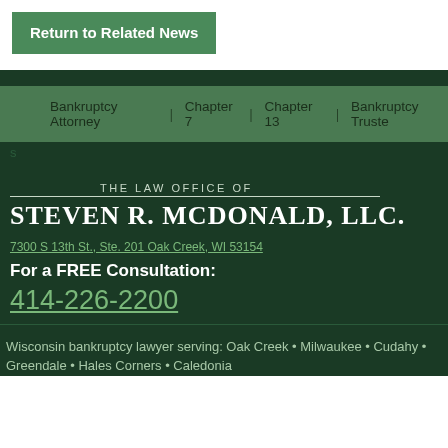Return to Related News
Bankruptcy Attorney | Chapter 7 | Chapter 13 | Bankruptcy Truste
THE LAW OFFICE OF
STEVEN R. MCDONALD, LLC.
7300 S 13th St., Ste. 201 Oak Creek, WI 53154
For a FREE Consultation:
414-226-2200
Wisconsin bankruptcy lawyer serving: Oak Creek • Milwaukee • Cudahy • Greendale • Hales Corners • Caledonia